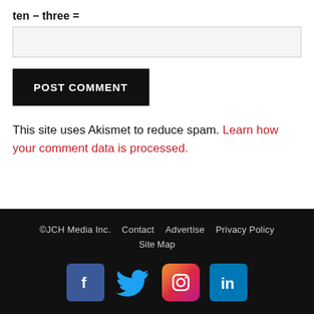ten − three =
POST COMMENT
This site uses Akismet to reduce spam. Learn how your comment data is processed.
©JCH Media Inc.   Contact   Advertise   Privacy Policy   Site Map